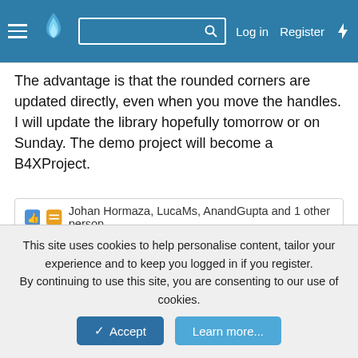Log in  Register
The advantage is that the rounded corners are updated directly, even when you move the handles.
I will update the library hopefully tomorrow or on Sunday. The demo project will become a B4XProject.
👍 🔢 Johan Hormaza, LucaMs, AnandGupta and 1 other person
LucaMs
Expert  Licensed User  Longtime User
Jun 23, 2022  #51
klaus said: ↑
This site uses cookies to help personalise content, tailor your experience and to keep you logged in if you register.
By continuing to use this site, you are consenting to our use of cookies.